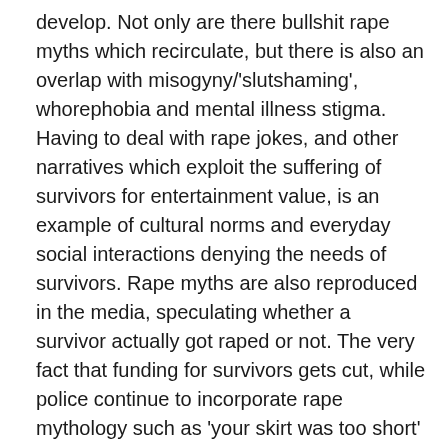develop. Not only are there bullshit rape myths which recirculate, but there is also an overlap with misogyny/'slutshaming', whorephobia and mental illness stigma. Having to deal with rape jokes, and other narratives which exploit the suffering of survivors for entertainment value, is an example of cultural norms and everyday social interactions denying the needs of survivors. Rape myths are also reproduced in the media, speculating whether a survivor actually got raped or not. The very fact that funding for survivors gets cut, while police continue to incorporate rape mythology such as 'your skirt was too short' as a part of common protocol, reinforces ideology at an institutional and material level that survivors are to be devalued. All of these ideological manifestations repeatedly reproduced, are the building blocks of the matrix which enables rape culture to exist.